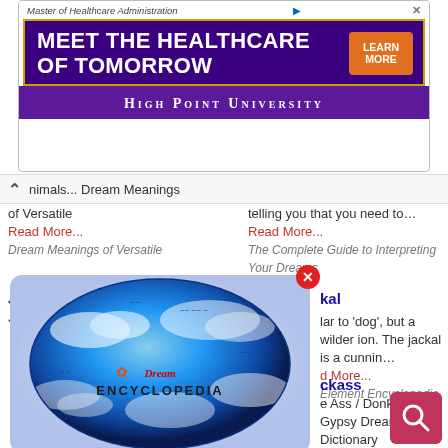[Figure (screenshot): Advertisement banner for High Point University Master of Healthcare Administration program with purple background and 'MEET THE HEALTHCARE OF TOMORROW' headline with orange LEARN MORE button]
nimals... Dream Meanings of Versatile
Read More...
Dream Meanings of Versatile
telling you that you need to…
Read More...
The Complete Guide to Interpreting Your Dreams
Jackal
Jac…
kal
lar to 'dog', but a wilder ion. The jackal is a cunnin…
d More...
Element Encyclopedia
[Figure (illustration): Dream Encyclopedia globe logo showing Earth with clouds and Dream Encyclopedia text overlay]
ckass
e Ass / Donkey.... Gypsy Dream Dictionary
Read More...
Gypsy Dream Dictionary